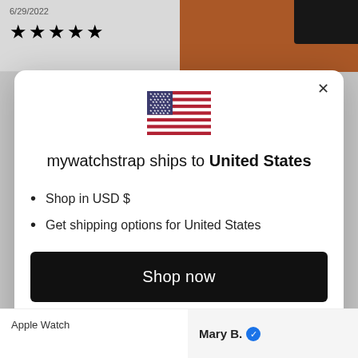6/29/2022
★★★★★
[Figure (photo): Orange wood surface with dark object in top right corner]
[Figure (illustration): United States flag]
mywatchstrap ships to United States
Shop in USD $
Get shipping options for United States
Shop now
Change shipping country
Apple Watch
Mary B.